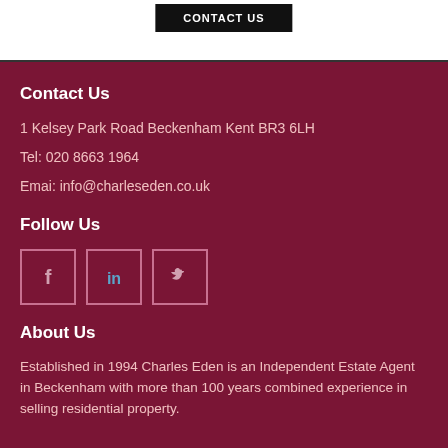Contact Us
1 Kelsey Park Road Beckenham Kent BR3 6LH
Tel: 020 8663 1964
Emai: info@charleseden.co.uk
Follow Us
[Figure (other): Social media icons: Facebook, LinkedIn, Twitter]
About Us
Established in 1994 Charles Eden is an Independent Estate Agent in Beckenham with more than 100 years combined experience in selling residential property.